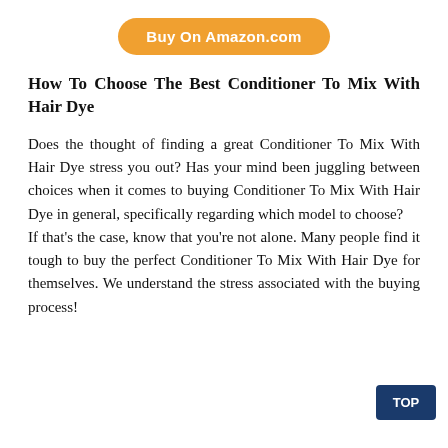[Figure (other): Orange rounded button with text 'Buy On Amazon.com']
How To Choose The Best Conditioner To Mix With Hair Dye
Does the thought of finding a great Conditioner To Mix With Hair Dye stress you out? Has your mind been juggling between choices when it comes to buying Conditioner To Mix With Hair Dye in general, specifically regarding which model to choose?
If that's the case, know that you're not alone. Many people find it tough to buy the perfect Conditioner To Mix With Hair Dye for themselves. We understand the stress associated with the buying process!
[Figure (other): Dark blue 'TOP' button in bottom right corner]